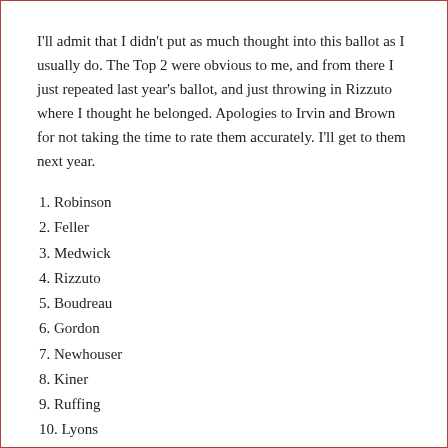I'll admit that I didn't put as much thought into this ballot as I usually do. The Top 2 were obvious to me, and from there I just repeated last year's ballot, and just throwing in Rizzuto where I thought he belonged. Apologies to Irvin and Brown for not taking the time to rate them accurately. I'll get to them next year.
1. Robinson
2. Feller
3. Medwick
4. Rizzuto
5. Boudreau
6. Gordon
7. Newhouser
8. Kiner
9. Ruffing
10. Lyons
Terry's ballot: